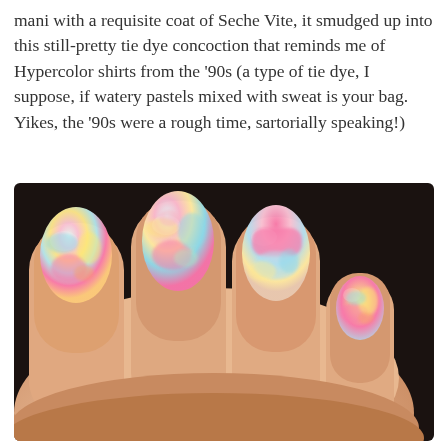mani with a requisite coat of Seche Vite, it smudged up into this still-pretty tie dye concoction that reminds me of Hypercolor shirts from the ‘90s (a type of tie dye, I suppose, if watery pastels mixed with sweat is your bag. Yikes, the ‘90s were a rough time, sartorially speaking!)
[Figure (photo): Close-up photo of a hand showing four fingernails painted in a tie-dye style with pastel colors including pink, blue, yellow, and orange swirled together.]